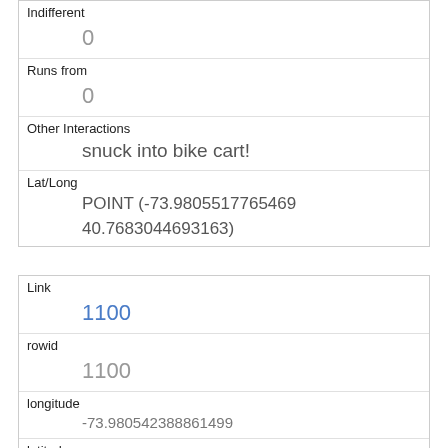| Indifferent | 0 |
| Runs from | 0 |
| Other Interactions | snuck into bike cart! |
| Lat/Long | POINT (-73.9805517765469 40.7683044693163) |
| Link | 1100 |
| rowid | 1100 |
| longitude | -73.980542388861499 |
| latitude | 40.768204880479395 |
| Unique Squirrel ID | 1B-AM-1012-14 |
| Hectare | 01B |